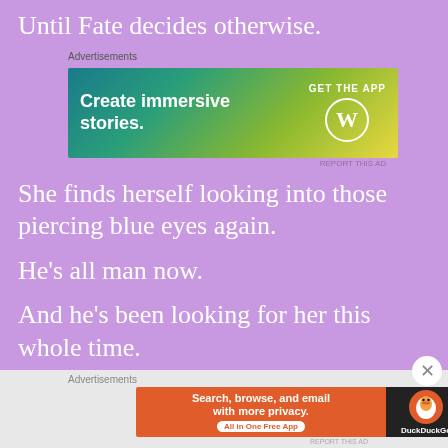Until Fate decides otherwise.
[Figure (screenshot): WordPress advertisement banner: Create immersive stories. GET THE APP with WordPress logo]
She finds herself looking into those piercing blue eyes again.
He’s all man now.
And he’s been looking for her this whole time.
Now he’s living next door,
[Figure (screenshot): DuckDuckGo advertisement: Search, browse, and email with more privacy. All in One Free App]